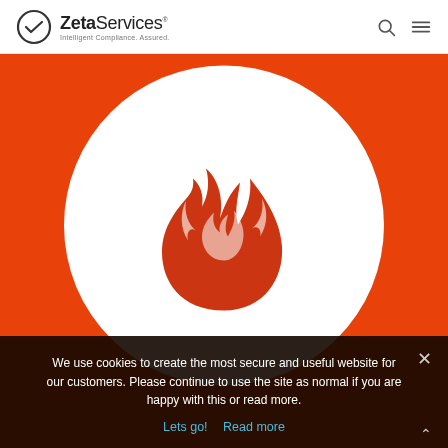Zeta Services — Intelligent Compliance. Assured.
[Figure (illustration): Orange background with a large white circle containing a red/orange flame icon in the center, representing a fire safety or compliance topic.]
We use cookies to create the most secure and useful website for our customers. Please continue to use the site as normal if you are happy with this or read more.
Lets go!  Read more